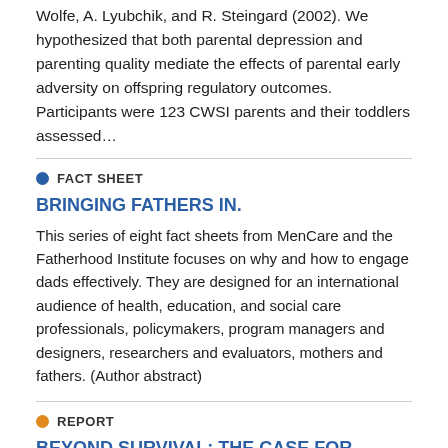Wolfe, A. Lyubchik, and R. Steingard (2002). We hypothesized that both parental depression and parenting quality mediate the effects of parental early adversity on offspring regulatory outcomes. Participants were 123 CWSI parents and their toddlers assessed…
FACT SHEET
BRINGING FATHERS IN.
This series of eight fact sheets from MenCare and the Fatherhood Institute focuses on why and how to engage dads effectively. They are designed for an international audience of health, education, and social care professionals, policymakers, program managers and designers, researchers and evaluators, mothers and fathers. (Author abstract)
REPORT
BEYOND SURVIVAL: THE CASE FOR INVESTING IN YOUNG CHILDREN GLOBALLY.